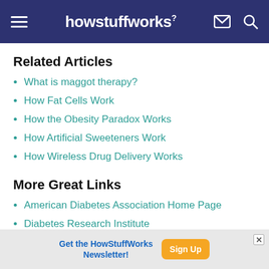howstuffworks
Related Articles
What is maggot therapy?
How Fat Cells Work
How the Obesity Paradox Works
How Artificial Sweeteners Work
How Wireless Drug Delivery Works
More Great Links
American Diabetes Association Home Page
Diabetes Research Institute
Get the HowStuffWorks Newsletter! Sign Up